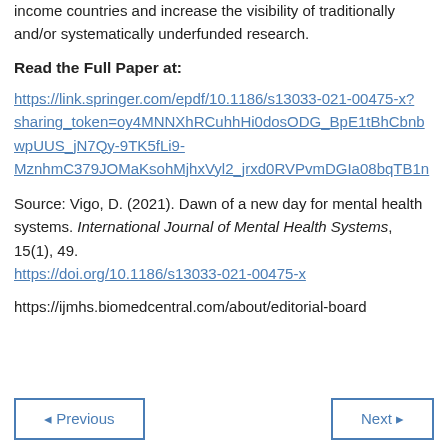income countries and increase the visibility of traditionally and/or systematically underfunded research.
Read the Full Paper at:
https://link.springer.com/epdf/10.1186/s13033-021-00475-x?sharing_token=oy4MNNXhRCuhhHi0dosODG_BpE1tBhCbnbwpUUS_jN7Qy-9TK5fLi9-MznhmC379JOMaKsohMjhxVyl2_jrxd0RVPvmDGIa08bqTB1n
Source: Vigo, D. (2021). Dawn of a new day for mental health systems. International Journal of Mental Health Systems, 15(1), 49. https://doi.org/10.1186/s13033-021-00475-x
https://ijmhs.biomedcentral.com/about/editorial-board
Previous  Next